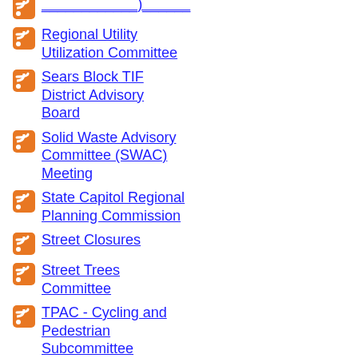Regional Utility Utilization Committee
Sears Block TIF District Advisory Board
Solid Waste Advisory Committee (SWAC) Meeting
State Capitol Regional Planning Commission
Street Closures
Street Trees Committee
TPAC - Cycling and Pedestrian Subcommittee Meeting
TPAC - Public Transportation Subcommittee Meeting
Traffic Operations Committee
Trails Committee
Transportation Poli...